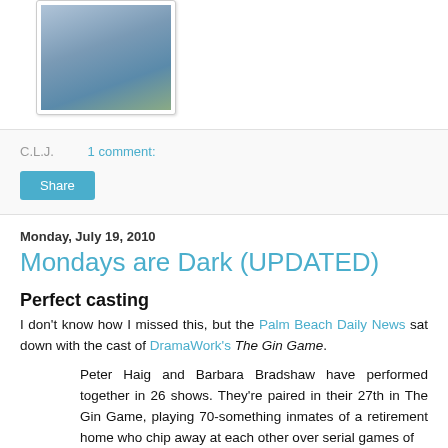[Figure (photo): Partial photo of a person in a blue/grey shirt, shown from chest up, cropped at top]
C.L.J.    1 comment:
Share
Monday, July 19, 2010
Mondays are Dark (UPDATED)
Perfect casting
I don't know how I missed this, but the Palm Beach Daily News sat down with the cast of DramaWork's The Gin Game.
Peter Haig and Barbara Bradshaw have performed together in 26 shows. They're paired in their 27th in The Gin Game, playing 70-something inmates of a retirement home who chip away at each other over serial games of